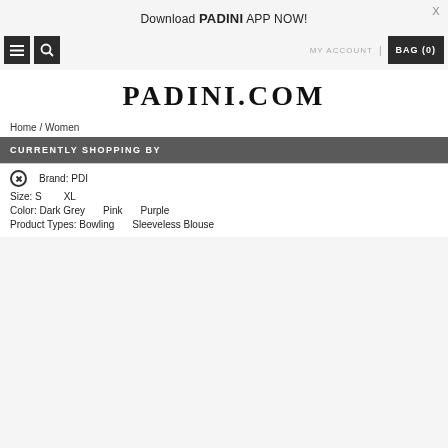X
Download PADINI APP NOW!
[Figure (screenshot): Navigation bar with hamburger menu icon, search icon, MY ACCOUNT link, and BAG (0) button on dark background]
PADINI.COM
Home / Women
CURRENTLY SHOPPING BY
⊗ Brand: PDI
Size: S   XL
Color: Dark Grey   Pink   Purple
Product Types: Bowling   Sleeveless Blouse